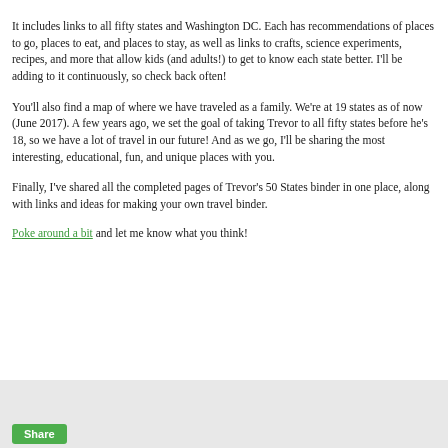It includes links to all fifty states and Washington DC. Each has recommendations of places to go, places to eat, and places to stay, as well as links to crafts, science experiments, recipes, and more that allow kids (and adults!) to get to know each state better. I'll be adding to it continuously, so check back often!
You'll also find a map of where we have traveled as a family. We're at 19 states as of now (June 2017). A few years ago, we set the goal of taking Trevor to all fifty states before he's 18, so we have a lot of travel in our future! And as we go, I'll be sharing the most interesting, educational, fun, and unique places with you.
Finally, I've shared all the completed pages of Trevor's 50 States binder in one place, along with links and ideas for making your own travel binder.
Poke around a bit and let me know what you think!
[Figure (screenshot): Light gray image area at the bottom of the page with a green Share button partially visible]